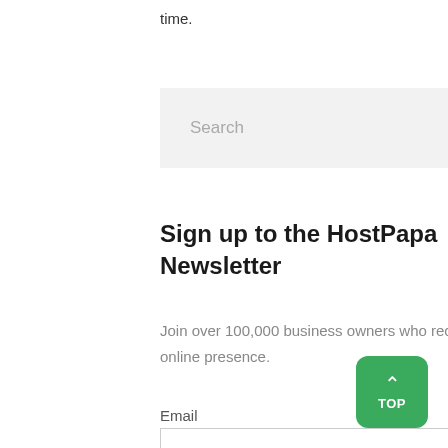time.
[Figure (other): Search bar with text input area showing placeholder text 'Search' and an orange search button with a magnifying glass icon on the right.]
Sign up to the HostPapa Newsletter
Join over 100,000 business owners who receive monthly tips about maintaining a successful online presence.
Email
[Figure (other): Email input text field, empty, with border.]
[Figure (other): Green 'TOP' button with upward chevron arrow in the bottom right corner.]